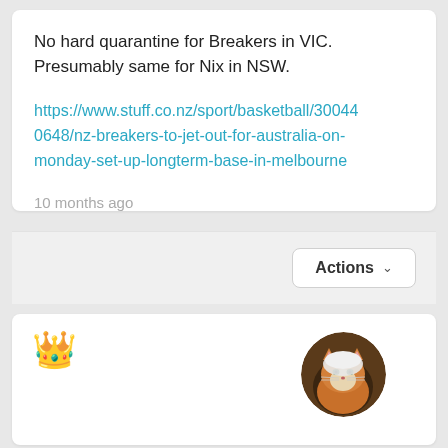No hard quarantine for Breakers in VIC. Presumably same for Nix in NSW.
https://www.stuff.co.nz/sport/basketball/300440648/nz-breakers-to-jet-out-for-australia-on-monday-set-up-longterm-base-in-melbourne
10 months ago
[Figure (other): Actions dropdown button]
[Figure (other): Crown emoji icon and circular cat avatar photo in the second card]